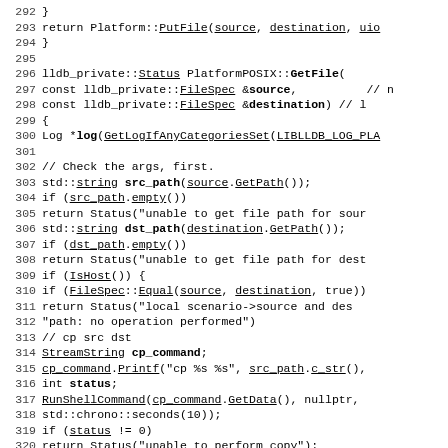Source code listing, lines 292–321, C++ implementation of PlatformPOSIX::GetFile